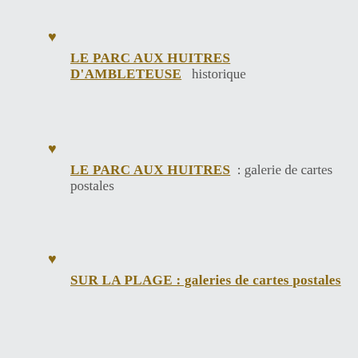LE PARC AUX HUITRES D'AMBLETEUSE  historique
LE PARC AUX HUITRES  : galerie de cartes postales
SUR LA PLAGE : galeries de cartes postales